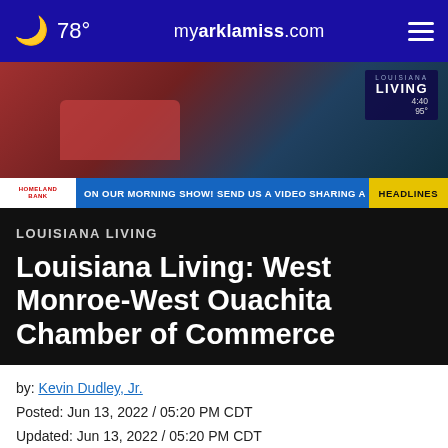78° myarklamiss.com
[Figure (screenshot): TV broadcast screenshot showing two people seated on a red couch with Louisiana Living segment overlay showing 4:40 and 95°]
ON OUR MORNING SHOW! SEND US A VIDEO SHARING A HIGHLIGHT OF THEM PL
HEADLINES
LOUISIANA LIVING
Louisiana Living: West Monroe-West Ouachita Chamber of Commerce
by: Kevin Dudley, Jr.
Posted: Jun 13, 2022 / 05:20 PM CDT
Updated: Jun 13, 2022 / 05:20 PM CDT
SHARE
[Figure (infographic): Advertisement: DeWitte Ford - ASK US ABOUT 6 MONTH PAYMENT RELIEF - whitefordwinnsboro.com - BUILT TO LEND A HAND - Ford]